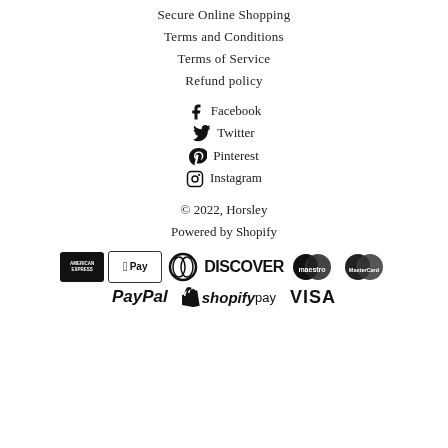Secure Online Shopping
Terms and Conditions
Terms of Service
Refund policy
Facebook
Twitter
Pinterest
Instagram
© 2022, Horsley
Powered by Shopify
[Figure (logo): Payment method logos: American Express, Apple Pay, Diners Club, Discover, Maestro, MasterCard, PayPal, Shopify Pay, Visa]